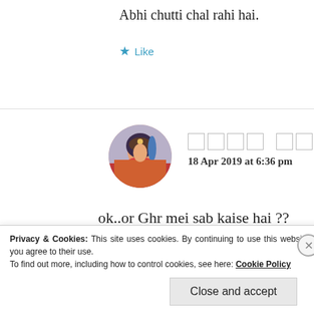Abhi chutti chal rahi hai.
★ Like
[Figure (photo): Circular avatar image of a woman in traditional Indian attire]
□□□□ □□□□
18 Apr 2019 at 6:36 pm
ok..or Ghr mei sab kaise hai ??
★ Like
Privacy & Cookies: This site uses cookies. By continuing to use this website, you agree to their use. To find out more, including how to control cookies, see here: Cookie Policy
Close and accept